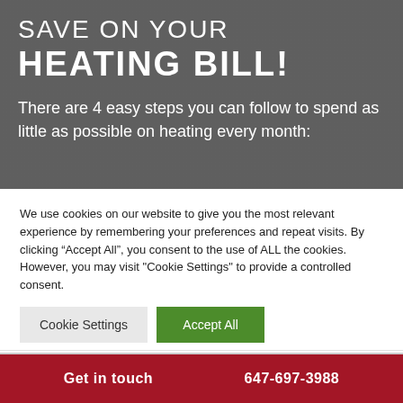SAVE ON YOUR HEATING BILL!
There are 4 easy steps you can follow to spend as little as possible on heating every month:
We use cookies on our website to give you the most relevant experience by remembering your preferences and repeat visits. By clicking “Accept All”, you consent to the use of ALL the cookies. However, you may visit "Cookie Settings" to provide a controlled consent.
Cookie Settings | Accept All
Get in touch   647-697-3988